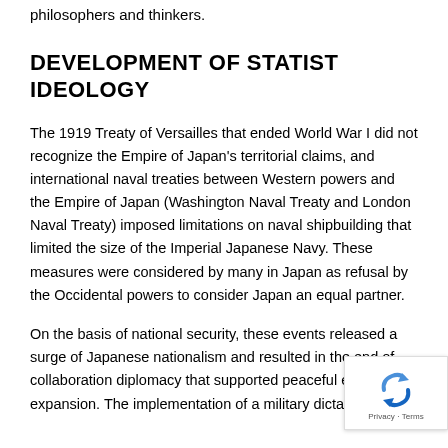philosophers and thinkers.
DEVELOPMENT OF STATIST IDEOLOGY
The 1919 Treaty of Versailles that ended World War I did not recognize the Empire of Japan's territorial claims, and international naval treaties between Western powers and the Empire of Japan (Washington Naval Treaty and London Naval Treaty) imposed limitations on naval shipbuilding that limited the size of the Imperial Japanese Navy. These measures were considered by many in Japan as refusal by the Occidental powers to consider Japan an equal partner.
On the basis of national security, these events released a surge of Japanese nationalism and resulted in the end of collaboration diplomacy that supported peaceful economic expansion. The implementation of a military dictatorship and